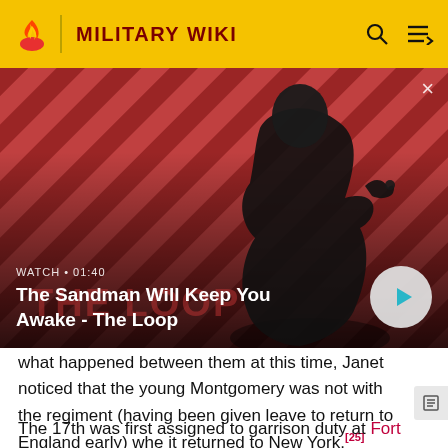MILITARY WIKI
[Figure (photo): Video banner thumbnail showing a dark-clad person with a bird on shoulder against a red diagonal-striped background. Title overlay: 'The Sandman Will Keep You Awake - The Loop'. Watch time: 01:40. Play button visible.]
what happened between them at this time, Janet noticed that the young Montgomery was not with the regiment (having been given leave to return to England early) when it returned to New York.[25]
The 17th was first assigned to garrison duty at Fort